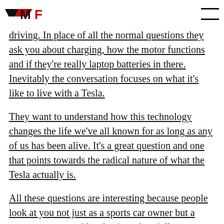MF logo and navigation
driving. In place of all the normal questions they ask you about charging, how the motor functions and if they’re really laptop batteries in there. Inevitably the conversation focuses on what it’s like to live with a Tesla.
They want to understand how this technology changes the life we’ve all known for as long as any of us has been alive. It’s a great question and one that points towards the radical nature of what the Tesla actually is.
All these questions are interesting because people look at you not just as a sports car owner but a sport car owner with eclectic and socially responsible tastes.
But once the conversations are over, you still have to get